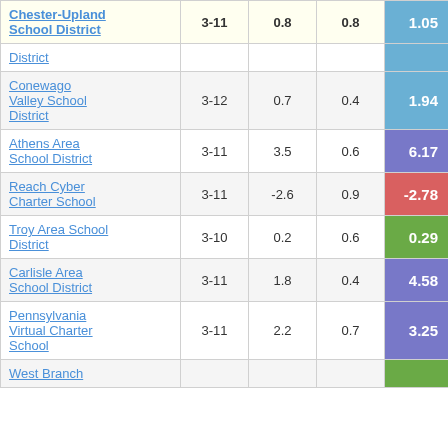| School District | Grades | Col3 | Col4 | Score |
| --- | --- | --- | --- | --- |
| Chester-Upland School District | 3-11 | 0.8 | 0.8 | 1.05 |
| District |  |  |  |  |
| Conewago Valley School District | 3-12 | 0.7 | 0.4 | 1.94 |
| Athens Area School District | 3-11 | 3.5 | 0.6 | 6.17 |
| Reach Cyber Charter School | 3-11 | -2.6 | 0.9 | -2.78 |
| Troy Area School District | 3-10 | 0.2 | 0.6 | 0.29 |
| Carlisle Area School District | 3-11 | 1.8 | 0.4 | 4.58 |
| Pennsylvania Virtual Charter School | 3-11 | 2.2 | 0.7 | 3.25 |
| West Branch |  |  |  |  |